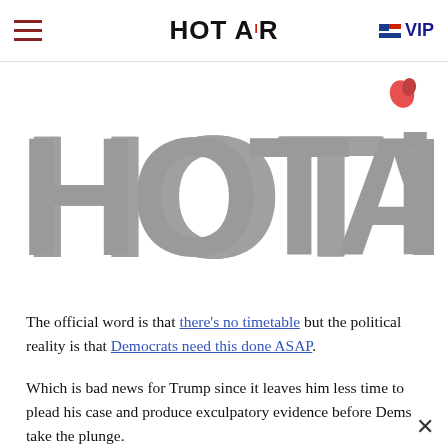HOT AiR  ☰  ≡VIP
[Figure (logo): Large Hot Air logo in grey block letters with a stylized flame/pepper icon above the letter i]
The official word is that there's no timetable but the political reality is that Democrats need this done ASAP.
Which is bad news for Trump since it leaves him less time to plead his case and produce exculpatory evidence before Dems take the plunge.